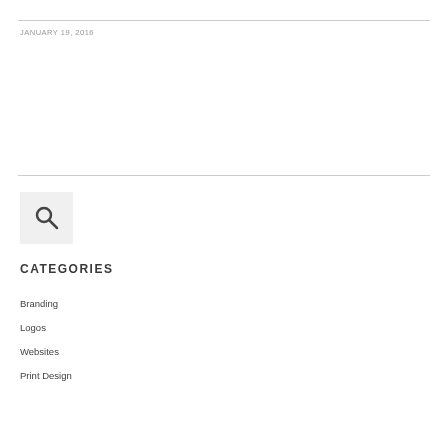JANUARY 19, 2016
[Figure (other): Search icon button — magnifying glass on light gray square background]
CATEGORIES
Branding
Logos
Websites
Print Design